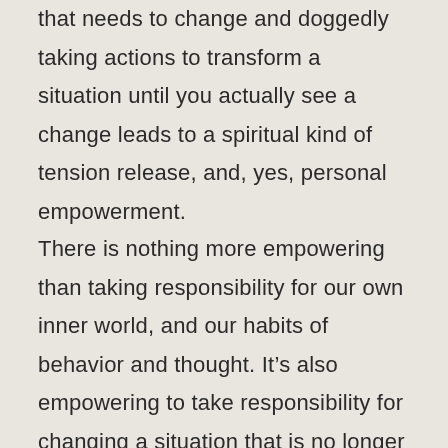that needs to change and doggedly taking actions to transform a situation until you actually see a change leads to a spiritual kind of tension release, and, yes, personal empowerment.
There is nothing more empowering than taking responsibility for our own inner world, and our habits of behavior and thought. It's also empowering to take responsibility for changing a situation that is no longer in alignment with personal values, or that we have grown out of. Honestly if we take the habitual